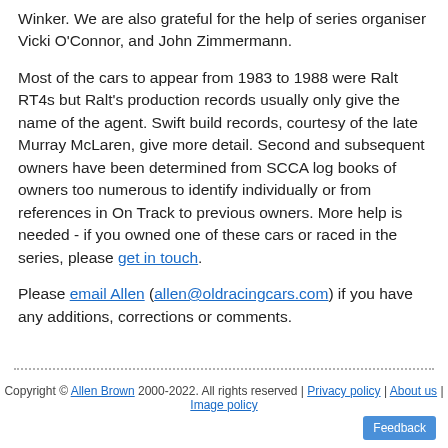Winker. We are also grateful for the help of series organiser Vicki O'Connor, and John Zimmermann.
Most of the cars to appear from 1983 to 1988 were Ralt RT4s but Ralt's production records usually only give the name of the agent. Swift build records, courtesy of the late Murray McLaren, give more detail. Second and subsequent owners have been determined from SCCA log books of owners too numerous to identify individually or from references in On Track to previous owners. More help is needed - if you owned one of these cars or raced in the series, please get in touch.
Please email Allen (allen@oldracingcars.com) if you have any additions, corrections or comments.
Copyright © Allen Brown 2000-2022. All rights reserved | Privacy policy | About us | Image policy